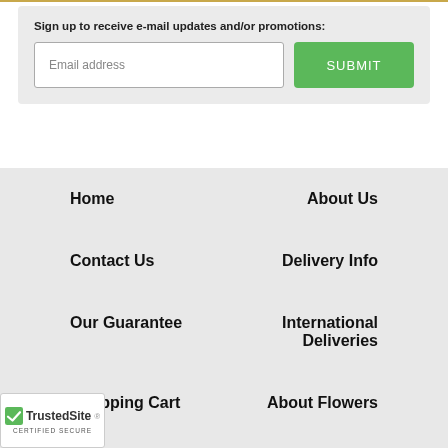Sign up to receive e-mail updates and/or promotions:
Email address
SUBMIT
Home
About Us
Contact Us
Delivery Info
Our Guarantee
International Deliveries
Shopping Cart
About Flowers
[Figure (logo): TrustedSite Certified Secure badge with green checkmark]
Features
Security & Privacy